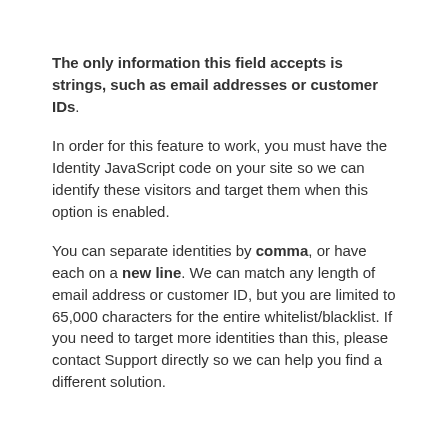The only information this field accepts is strings, such as email addresses or customer IDs.
In order for this feature to work, you must have the Identity JavaScript code on your site so we can identify these visitors and target them when this option is enabled.
You can separate identities by comma, or have each on a new line. We can match any length of email address or customer ID, but you are limited to 65,000 characters for the entire whitelist/blacklist. If you need to target more identities than this, please contact Support directly so we can help you find a different solution.